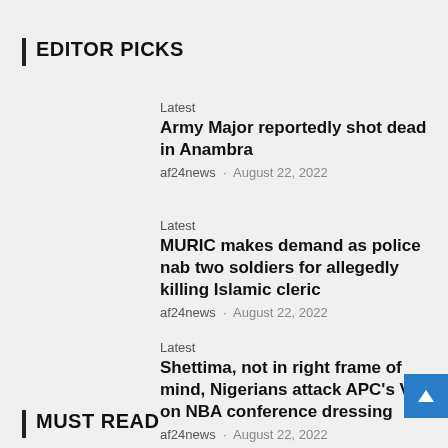EDITOR PICKS
Latest
Army Major reportedly shot dead in Anambra
af24news · August 22, 2022
Latest
MURIC makes demand as police nab two soldiers for allegedly killing Islamic cleric
af24news · August 22, 2022
Latest
Shettima, not in right frame of mind, Nigerians attack APC's VP on NBA conference dressing
af24news · August 22, 2022
MUST READ